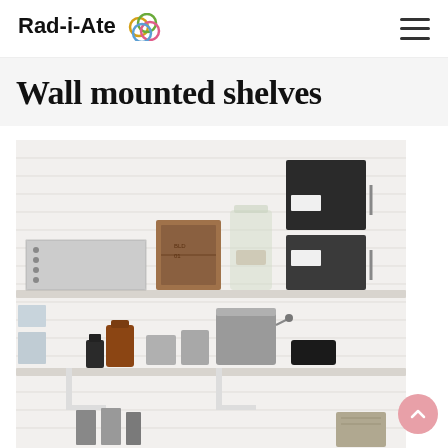Rad-i-Ate
Wall mounted shelves
[Figure (photo): Photo of wall mounted shelves with organized storage items including black boxes, a wooden crate, glass jars, spiral notebooks on the upper shelf, and metal tins, an amber bottle, small containers on the lower shelf, with white shiplap wall background.]